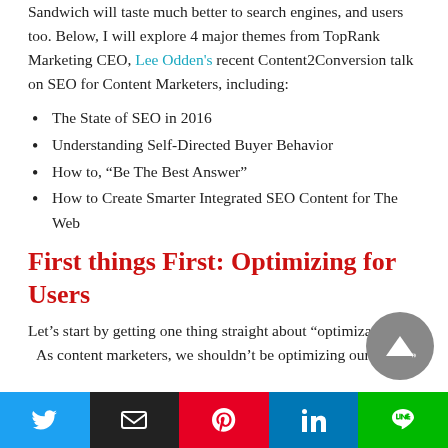Sandwich will taste much better to search engines, and users too. Below, I will explore 4 major themes from TopRank Marketing CEO, Lee Odden's recent Content2Conversion talk on SEO for Content Marketers, including:
The State of SEO in 2016
Understanding Self-Directed Buyer Behavior
How to, “Be The Best Answer”
How to Create Smarter Integrated SEO Content for The Web
First things First: Optimizing for Users
Let’s start by getting one thing straight about “optimiza… As content marketers, we shouldn’t be optimizing our